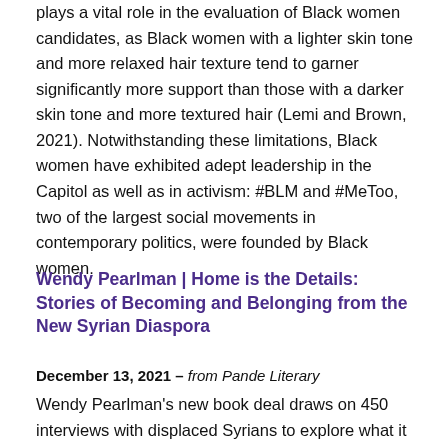plays a vital role in the evaluation of Black women candidates, as Black women with a lighter skin tone and more relaxed hair texture tend to garner significantly more support than those with a darker skin tone and more textured hair (Lemi and Brown, 2021). Notwithstanding these limitations, Black women have exhibited adept leadership in the Capitol as well as in activism: #BLM and #MeToo, two of the largest social movements in contemporary politics, were founded by Black women.
Wendy Pearlman | Home is the Details: Stories of Becoming and Belonging from the New Syrian Diaspora
December 13, 2021 – from Pande Literary
Wendy Pearlman's new book deal draws on 450 interviews with displaced Syrians to explore what it